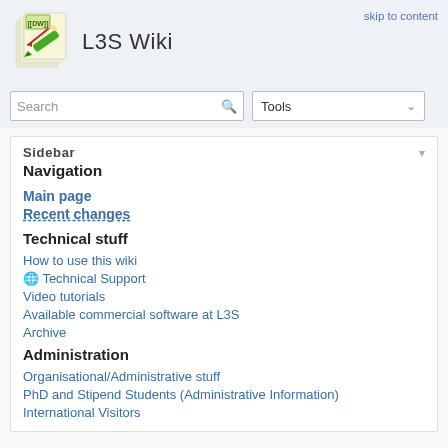L3S Wiki
skip to content
Search
Tools
Sidebar
Navigation
Main page
Recent changes
Technical stuff
How to use this wiki
🌐 Technical Support
Video tutorials
Available commercial software at L3S
Archive
Administration
Organisational/Administrative stuff
PhD and Stipend Students (Administrative Information)
International Visitors